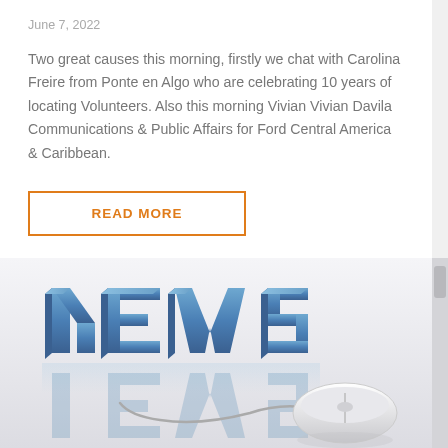June 7, 2022
Two great causes this morning, firstly we chat with Carolina Freire from Ponte en Algo who are celebrating 10 years of locating Volunteers. Also this morning Vivian Vivian Davila Communications & Public Affairs for Ford Central America & Caribbean.
READ MORE
[Figure (illustration): 3D blue block letters spelling NEWS connected by a cable to a white computer mouse, with a reflection underneath, on a light grey/white gradient background.]